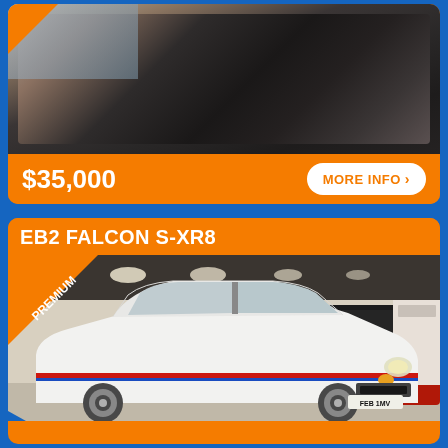[Figure (photo): Car interior photo showing dark leather bench seat from an angle, with window visible on left side. Orange corner badge top-left. Orange price bar at bottom showing $35,000 and MORE INFO button.]
$35,000
MORE INFO >
EB2 FALCON S-XR8
[Figure (photo): White EB2 Falcon S-XR8 car in a showroom, angled front-right view. Red and blue stripe along lower body. Dark cars visible in background. PREMIUM badge in top-left corner of photo.]